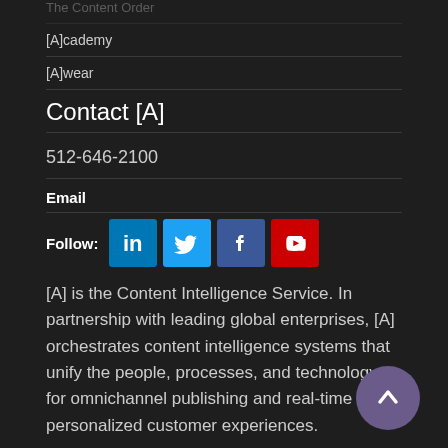The Content Order
[A]cademy
[A]wear
Contact [A]
512-646-2100
Email
Follow:
[Figure (infographic): Social media icons for LinkedIn, Twitter, Facebook, YouTube]
[A] is the Content Intelligence Service. In partnership with leading global enterprises, [A] orchestrates content intelligence systems that unify the people, processes, and technology for omnichannel publishing and real-time personalized customer experiences.